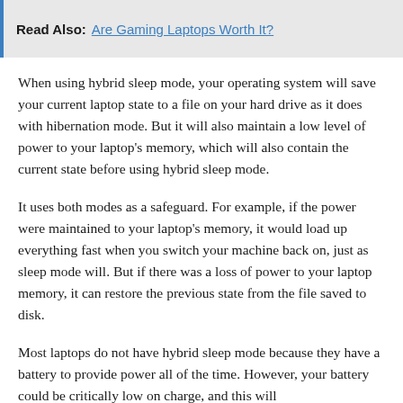Read Also: Are Gaming Laptops Worth It?
When using hybrid sleep mode, your operating system will save your current laptop state to a file on your hard drive as it does with hibernation mode. But it will also maintain a low level of power to your laptop's memory, which will also contain the current state before using hybrid sleep mode.
It uses both modes as a safeguard. For example, if the power were maintained to your laptop's memory, it would load up everything fast when you switch your machine back on, just as sleep mode will. But if there was a loss of power to your laptop memory, it can restore the previous state from the file saved to disk.
Most laptops do not have hybrid sleep mode because they have a battery to provide power all of the time. However, your battery could be critically low on charge, and this will